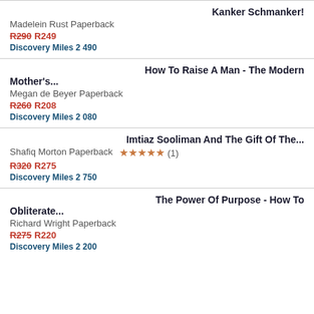Kanker Schmanker!
Madelein Rust Paperback
R290 R249
Discovery Miles 2 490
How To Raise A Man - The Modern Mother's...
Megan de Beyer Paperback
R260 R208
Discovery Miles 2 080
Imtiaz Sooliman And The Gift Of The...
Shafiq Morton Paperback ★★★★★ (1)
R320 R275
Discovery Miles 2 750
The Power Of Purpose - How To Obliterate...
Richard Wright Paperback
R275 R220
Discovery Miles 2 200